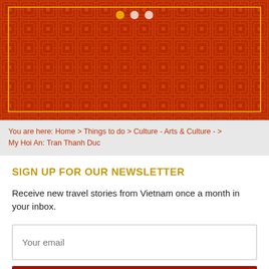[Figure (illustration): Red decorative banner with Chinese/Vietnamese traditional pattern in darker red, a golden inner border rectangle, and three carousel indicator dots (one gold/active, two white/inactive) at the top center.]
You are here: Home > Things to do > Culture - Arts & Culture - > My Hoi An: Tran Thanh Duc
SIGN UP FOR OUR NEWSLETTER
Receive new travel stories from Vietnam once a month in your inbox.
Your email
SIGN UP